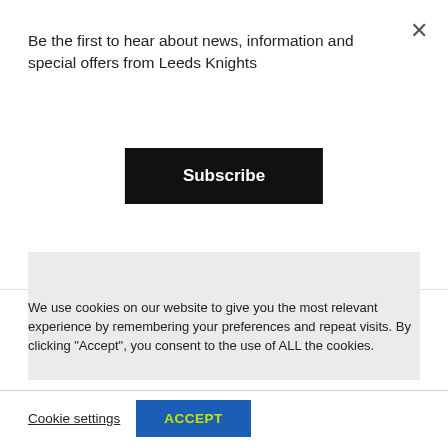Be the first to hear about news, information and special offers from Leeds Knights
Subscribe
[Figure (other): Gray placeholder box below subscribe modal]
We use cookies on our website to give you the most relevant experience by remembering your preferences and repeat visits. By clicking “Accept”, you consent to the use of ALL the cookies.
Cookie settings
ACCEPT